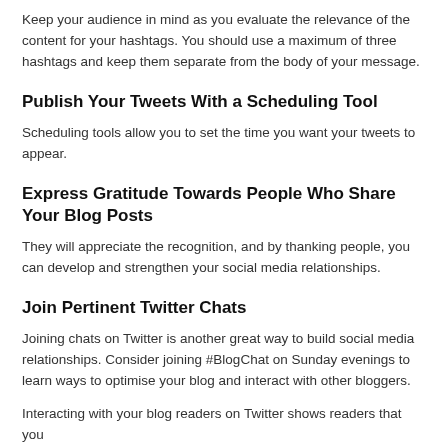Keep your audience in mind as you evaluate the relevance of the content for your hashtags.  You should use a maximum of three hashtags and keep them separate from the body of your message.
Publish Your Tweets With a Scheduling Tool
Scheduling tools allow you to set the time you want your tweets to appear.
Express Gratitude Towards People Who Share Your Blog Posts
They will appreciate the recognition, and by thanking people, you can develop and strengthen your social media relationships.
Join Pertinent Twitter Chats
Joining chats on Twitter is another great way to build social media relationships.  Consider joining #BlogChat on Sunday evenings to learn ways to optimise your blog and interact with other bloggers.
Interacting with your blog readers on Twitter shows readers that you